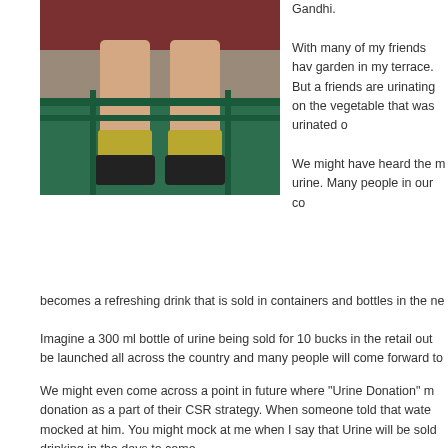[Figure (photo): Photo of a person's legs and feet with yellow-green socks and dark sandals, sitting on what appears to be green-painted metal furniture or railings]
Gandhi.
With many of my friends hav garden in my terrace. But a friends are urinating on the vegetable that was urinated o
We might have heard the m urine. Many people in our co becomes a refreshing drink that is sold in containers and bottles in the ne
Imagine a 300 ml bottle of urine being sold for 10 bucks in the retail out be launched all across the country and many people will come forward to
We might even come across a point in future where "Urine Donation" m donation as a part of their CSR strategy. When someone told that wate mocked at him. You might mock at me when I say that Urine will be sold drinking in the days to come.
Just like the Marine Technology course that is offered as a professional People with BE in Urine Technology might get onsite offers and might be
Did you see the tummy of Nitin Gadkari? People with pot bellies will be Urine. Unfortunately, the author of this blog has a flat tummy.